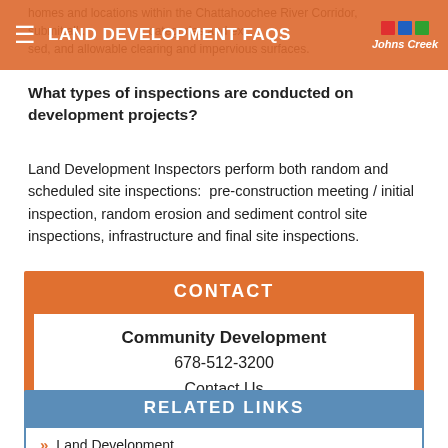LAND DEVELOPMENT FAQS
homes and locations within the Chattahoochee River Corridor, submit all... categories and ex... sed, and allowable clearing and impervious surfaces.
What types of inspections are conducted on development projects?
Land Development Inspectors perform both random and scheduled site inspections:  pre-construction meeting / initial inspection, random erosion and sediment control site inspections, infrastructure and final site inspections.
CONTACT
Community Development
678-512-3200
Contact Us
RELATED LINKS
Land Development